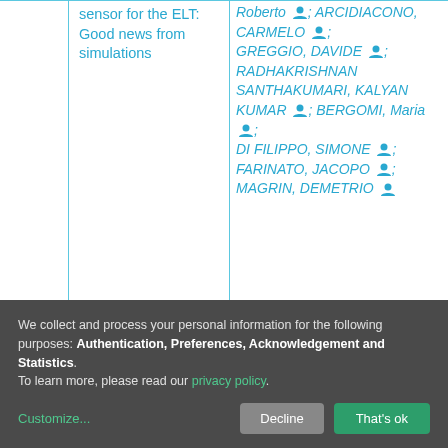sensor for the ELT: Good news from simulations
Roberto; ARCIDIACONO, CARMELO; GREGGIO, DAVIDE; RADHAKRISHNAN SANTHAKUMARI, KALYAN KUMAR; BERGOMI, Maria; DI FILIPPO, SIMONE; FARINATO, JACOPO; MAGRIN, DEMETRIO
We collect and process your personal information for the following purposes: Authentication, Preferences, Acknowledgement and Statistics. To learn more, please read our privacy policy.